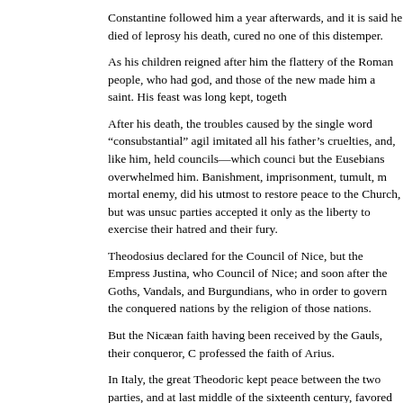Constantine followed him a year afterwards, and it is said he died of leprosy his death, cured no one of this distemper.
As his children reigned after him the flattery of the Roman people, who had god, and those of the new made him a saint. His feast was long kept, togeth
After his death, the troubles caused by the single word “consubstantial” agil imitated all his father’s cruelties, and, like him, held councils—which counci but the Eusebians overwhelmed him. Banishment, imprisonment, tumult, m mortal enemy, did his utmost to restore peace to the Church, but was unsuc parties accepted it only as the liberty to exercise their hatred and their fury.
Theodosius declared for the Council of Nice, but the Empress Justina, who Council of Nice; and soon after the Goths, Vandals, and Burgundians, who in order to govern the conquered nations by the religion of those nations.
But the Nicæan faith having been received by the Gauls, their conqueror, C professed the faith of Arius.
In Italy, the great Theodoric kept peace between the two parties, and at last middle of the sixteenth century, favored by the religious disputes which ther Forty gentlemen of Vicenza formed an academy, in which such tenets only as the Word, as Saviour, and as Judge; but His divinity, His consubstantialit
Of these dogmatizers, the principal were Lælius Socinus, Ochin, Pazuta, ar well known; they carried on for some time an interchange of abuse by letter cowardly enough to have him arrested, and barbarous enough to have him narrowly escaped in France. Nearly all the theologians of that time were by
The same Calvin solicited the death of Gentilis at Geneva. He found five ac of that abominable age. Gentilis was put in prison, and was on the point of l bestowed the most ridiculous praises on Calvin, and was saved. But he hac to be counted as an Arian. The same city or so much as do not that him